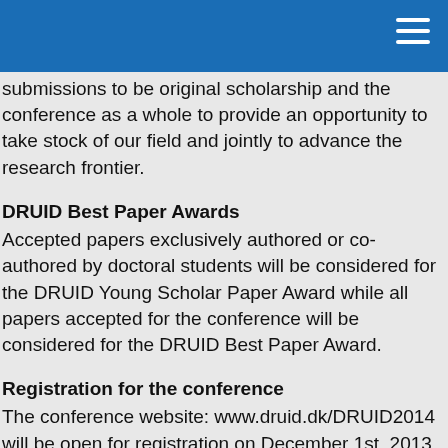submissions to be original scholarship and the conference as a whole to provide an opportunity to take stock of our field and jointly to advance the research frontier.
DRUID Best Paper Awards
Accepted papers exclusively authored or co-authored by doctoral students will be considered for the DRUID Young Scholar Paper Award while all papers accepted for the conference will be considered for the DRUID Best Paper Award.
Registration for the conference
The conference website: www.druid.dk/DRUID2014 will be open for registration on December 1st, 2013. The site will remain open for payment of the conference fee until June 10. However, authors of accepted papers and posters must pay the fee